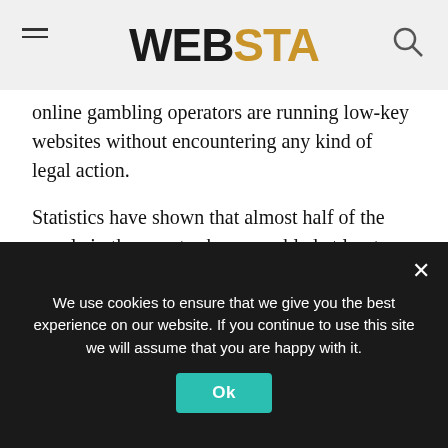WEBSTA
online gambling operators are running low-key websites without encountering any kind of legal action.
Statistics have shown that almost half of the people in the country have gambled at least once in their life. People are joining online casinos at a growing rate. In fact, the growth is so slow that it is going to surpass the United Kingdom’s number of gamblers per capita. As land-based casinos aren’t legal in India, people resort to online casinos to play and have some fun.
We use cookies to ensure that we give you the best experience on our website. If you continue to use this site we will assume that you are happy with it.